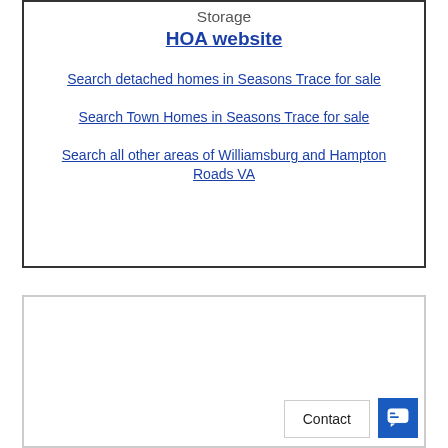Storage
HOA website
Search detached homes in Seasons Trace for sale
Search Town Homes in Seasons Trace for sale
Search all other areas of Williamsburg and Hampton Roads VA
Contact